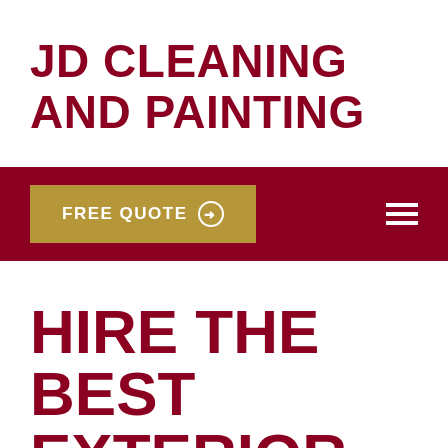JD CLEANING AND PAINTING
[Figure (screenshot): Navigation bar with dark red background containing a gold 'FREE QUOTE' button with arrow icon and a hamburger menu icon on the right]
HIRE THE BEST EXTERIOR